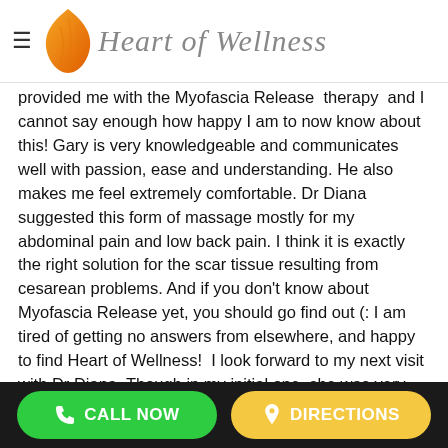[Figure (logo): Heart of Wellness logo with orange leaf/flame icon and italic serif logotype text]
provided me with the Myofascia Release  therapy  and I cannot say enough how happy I am to now know about this! Gary is very knowledgeable and communicates well with passion, ease and understanding. He also makes me feel extremely comfortable. Dr Diana suggested this form of massage mostly for my abdominal pain and low back pain. I think it is exactly the right solution for the scar tissue resulting from cesarean problems. And if you don't know about Myofascia Release yet, you should go find out (: I am tired of getting no answers from elsewhere, and happy to find Heart of Wellness!  I look forward to my next visit with Dr Diana. Though in my initial one, she was very helpful and really listened to my concerns and offered some insight that no other doctor has ever mentioned. She made some simple suggestions to me and the recommendation for Gary and I
CALL NOW
DIRECTIONS